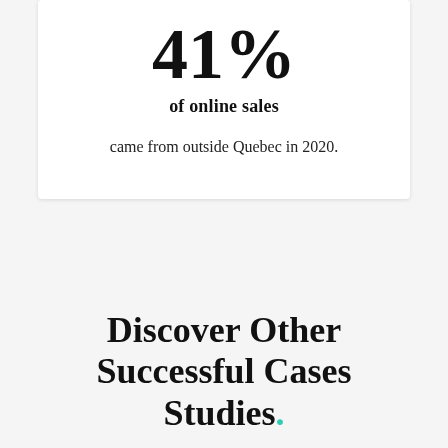41%
of online sales
came from outside Quebec in 2020.
Discover Other Successful Cases Studies.